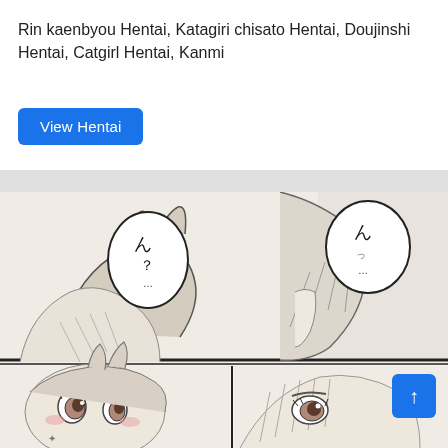Rin kaenbyou Hentai, Katagiri chisato Hentai, Doujinshi Hentai, Catgirl Hentai, Kanmi
View Hentai
[Figure (illustration): Manga/doujinshi page panels showing anime-style characters in close-up scenes. Top large panel shows two characters in close proximity with speech bubbles containing Japanese text 'ん？…'. Bottom two smaller panels show character close-ups with expressive eyes and faces.]